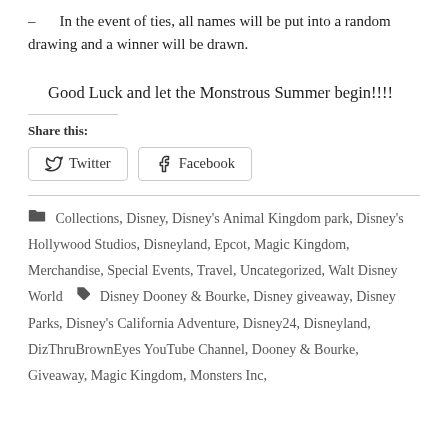– In the event of ties, all names will be put into a random drawing and a winner will be drawn.
Good Luck and let the Monstrous Summer begin!!!!
Share this:
Twitter  Facebook
Collections, Disney, Disney's Animal Kingdom park, Disney's Hollywood Studios, Disneyland, Epcot, Magic Kingdom, Merchandise, Special Events, Travel, Uncategorized, Walt Disney World   Disney Dooney & Bourke, Disney giveaway, Disney Parks, Disney's California Adventure, Disney24, Disneyland, DizThruBrownEyes YouTube Channel, Dooney & Bourke, Giveaway, Magic Kingdom, Monsters Inc,